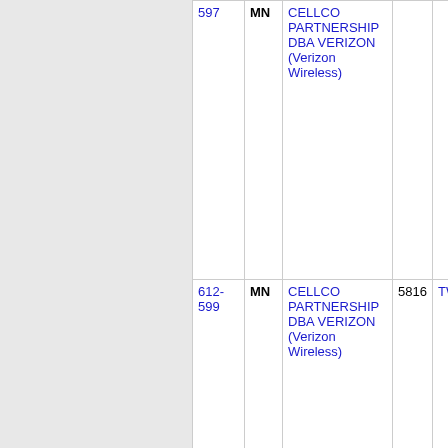| 597 | MN | CELLCO PARTNERSHIP DBA VERIZON (Verizon Wireless) | 5816 | TWINC... |
| 612-599 | MN | CELLCO PARTNERSHIP DBA VERIZON (Verizon Wireless) | 5816 | TWINC... |